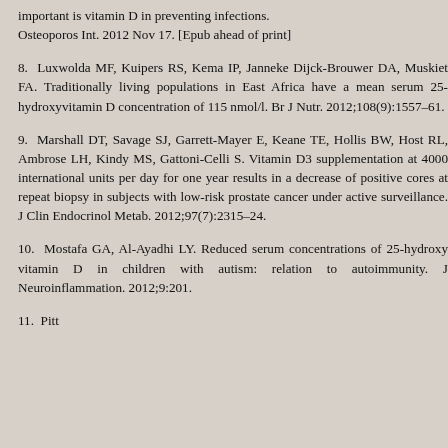important is vitamin D in preventing infections. Osteoporos Int. 2012 Nov 17. [Epub ahead of print]
8. Luxwolda MF, Kuipers RS, Kema IP, Janneke Dijck-Brouwer DA, Muskiet FA. Traditionally living populations in East Africa have a mean serum 25-hydroxyvitamin D concentration of 115 nmol/l. Br J Nutr. 2012;108(9):1557-61.
9. Marshall DT, Savage SJ, Garrett-Mayer E, Keane TE, Hollis BW, Host RL, Ambrose LH, Kindy MS, Gattoni-Celli S. Vitamin D3 supplementation at 4000 international units per day for one year results in a decrease of positive cores at repeat biopsy in subjects with low-risk prostate cancer under active surveillance. J Clin Endocrinol Metab. 2012;97(7):2315-24.
10. Mostafa GA, Al-Ayadhi LY. Reduced serum concentrations of 25-hydroxy vitamin D in children with autism: relation to autoimmunity. J Neuroinflammation. 2012;9:201.
11. Pitt...